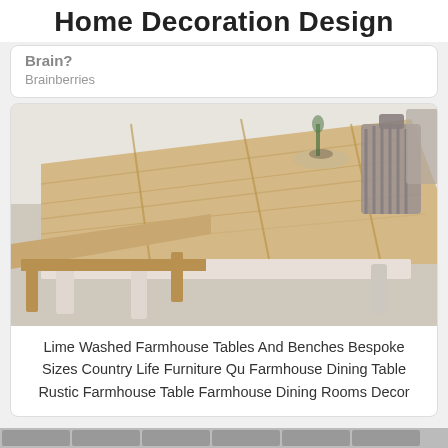Home Decoration Design
Brain?
Brainberries
[Figure (photo): A farmhouse dining table with a lime-washed wooden top, white painted legs, a matching wooden bench on the left side, and grey painted spindle-back chairs on the right side, photographed indoors on a tiled floor.]
Lime Washed Farmhouse Tables And Benches Bespoke Sizes Country Life Furniture Qu Farmhouse Dining Table Rustic Farmhouse Table Farmhouse Dining Rooms Decor